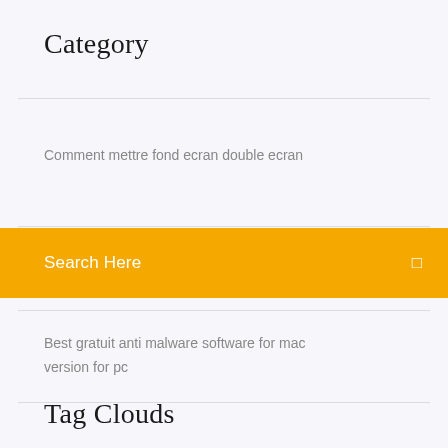Category
Comment mettre fond ecran double ecran
Search Here
version for pc
Best gratuit anti malware software for mac
Tag Clouds